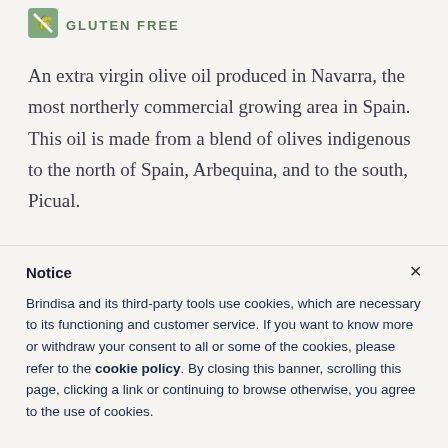[Figure (logo): Green gluten-free badge icon with wheat symbol]
GLUTEN FREE
An extra virgin olive oil produced in Navarra, the most northerly commercial growing area in Spain. This oil is made from a blend of olives indigenous to the north of Spain, Arbequina, and to the south, Picual.
Notice
Brindisa and its third-party tools use cookies, which are necessary to its functioning and customer service. If you want to know more or withdraw your consent to all or some of the cookies, please refer to the cookie policy. By closing this banner, scrolling this page, clicking a link or continuing to browse otherwise, you agree to the use of cookies.